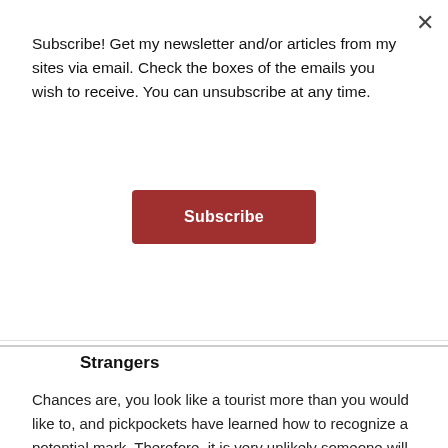Subscribe! Get my newsletter and/or articles from my sites via email. Check the boxes of the emails you wish to receive. You can unsubscribe at any time.
Subscribe
Strangers
Chances are, you look like a tourist more than you would like to, and pickpockets have learned how to recognize a potential mark. Therefore, it is very unlikely someone will need to stop you and ask for directions or assistance in English if you are in a foreign country. In all actuality, they probably know you are a tourist already and are seeking to confirm this and perhaps create some conversation to relax/distract you for a partner. We all want to be compassionate and help others, but when you are vulnerable with luggage and finding your way, think of yourself first. Walk with purpose.